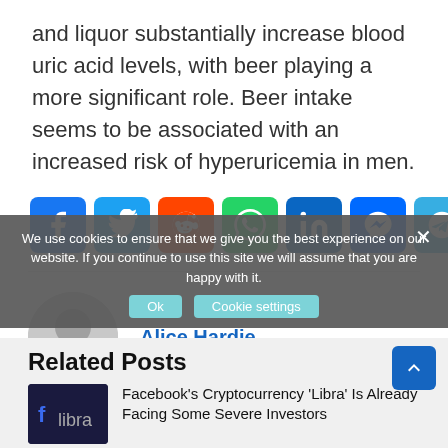and liquor substantially increase blood uric acid levels, with beer playing a more significant role. Beer intake seems to be associated with an increased risk of hyperuricemia in men.
[Figure (infographic): Social sharing buttons: Facebook, Twitter, Reddit, WhatsApp, LinkedIn, Messenger, Telegram, Share]
Alice Hardie
Related Posts
Facebook's Cryptocurrency 'Libra' Is Already Facing Some Severe Investors
We use cookies to ensure that we give you the best experience on our website. If you continue to use this site we will assume that you are happy with it.